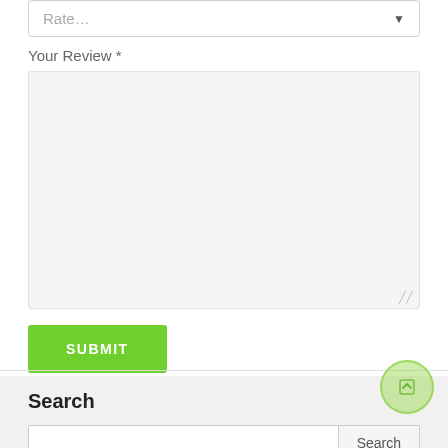Rate…
Your Review *
SUBMIT
Search
Search